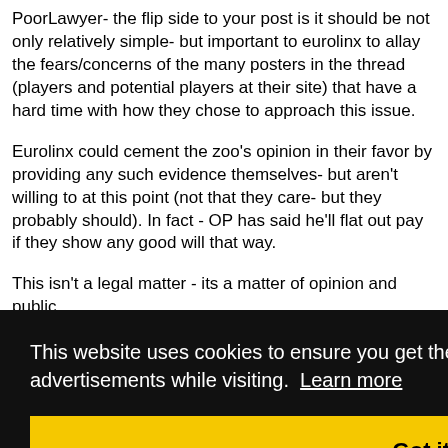PoorLawyer- the flip side to your post is it should be not only relatively simple- but important to eurolinx to allay the fears/concerns of the many posters in the thread (players and potential players at their site) that have a hard time with how they chose to approach this issue.
Eurolinx could cement the zoo's opinion in their favor by providing any such evidence themselves- but aren't willing to at this point (not that they care- but they probably should). In fact - OP has said he'll flat out pay if they show any good will that way.
This isn't a legal matter - its a matter of opinion and public
This website uses cookies to ensure you get the best experience and relevant advertisements while visiting. Learn more
Got it!
#59